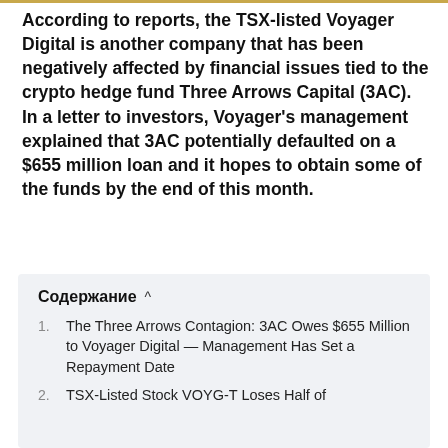According to reports, the TSX-listed Voyager Digital is another company that has been negatively affected by financial issues tied to the crypto hedge fund Three Arrows Capital (3AC). In a letter to investors, Voyager's management explained that 3AC potentially defaulted on a $655 million loan and it hopes to obtain some of the funds by the end of this month.
Содержание ^
The Three Arrows Contagion: 3AC Owes $655 Million to Voyager Digital — Management Has Set a Repayment Date
TSX-Listed Stock VOYG-T Loses Half of